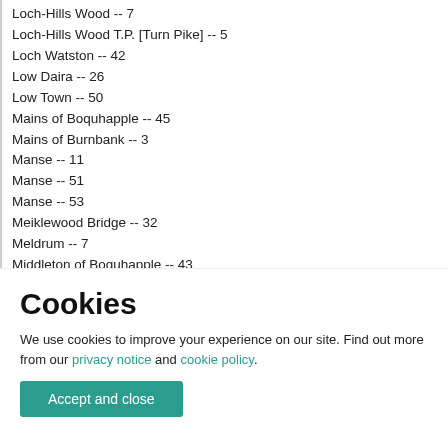Loch-Hills Wood -- 7
Loch-Hills Wood T.P. [Turn Pike] -- 5
Loch Watston -- 42
Low Daira -- 26
Low Town -- 50
Mains of Boquhapple -- 45
Mains of Burnbank -- 3
Manse -- 11
Manse -- 51
Manse -- 53
Meiklewood Bridge -- 32
Meldrum -- 7
Middleton of Boquhapple -- 43
Mill of Goodie -- 54
Mill of Torr -- 18
Cookies
We use cookies to improve your experience on our site. Find out more from our privacy notice and cookie policy.
Accept and close